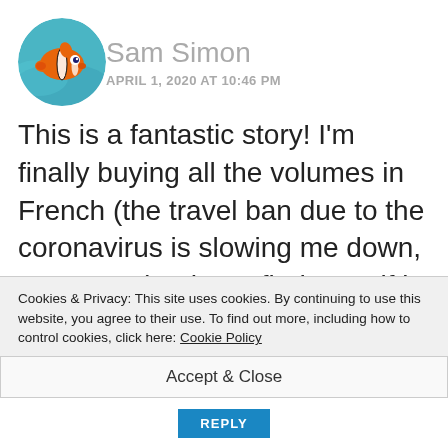[Figure (illustration): Circular avatar showing Nemo (clownfish from Finding Nemo) on a blue/teal ocean background]
Sam Simon
APRIL 1, 2020 AT 10:46 PM
This is a fantastic story! I'm finally buying all the volumes in French (the travel ban due to the coronavirus is slowing me down, I must say), when I find myself in France/Belgium/Switzerland I always buy a few. I grew up reading Asterix and it's still a j
Cookies & Privacy: This site uses cookies. By continuing to use this website, you agree to their use. To find out more, including how to control cookies, click here: Cookie Policy
Accept & Close
REPLY